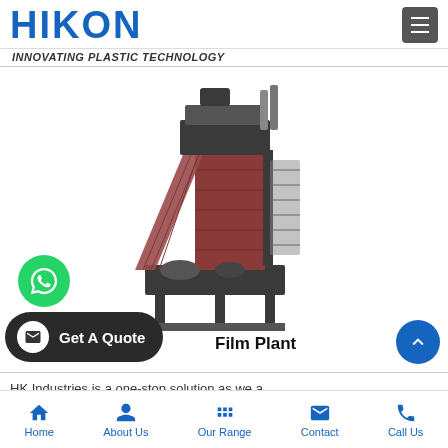HIKON
INNOVATING PLASTIC TECHNOLOGY
[Figure (photo): Industrial plastic film plant machine with metal frame, rollers, and conveyor components]
Film Plant
HK Industries is a one-stop solution as we a...
Home | About Us | Our Range | Contact | Call Us